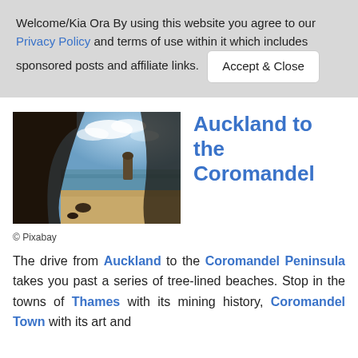Welcome/Kia Ora By using this website you agree to our Privacy Policy and terms of use within it which includes sponsored posts and affiliate links. [Accept & Close]
[Figure (photo): View through a dark rocky cave arch looking out onto a beach with a sea stack rock formation, sandy shore, and dramatic cloudy blue sky.]
© Pixabay
Auckland to the Coromandel
The drive from Auckland to the Coromandel Peninsula takes you past a series of tree-lined beaches. Stop in the towns of Thames with its mining history, Coromandel Town with its art and